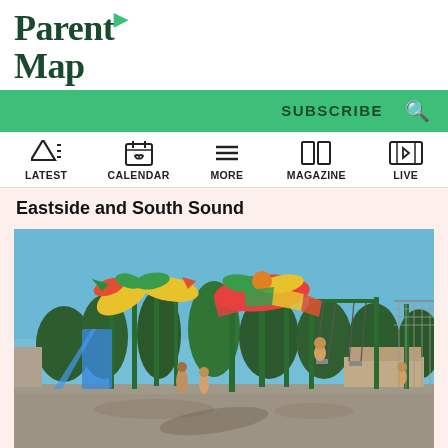ParentMap
SUBSCRIBE
LATEST | CALENDAR | MORE | MAGAZINE | LIVE
Eastside and South Sound
[Figure (photo): Outdoor playground with colorful bird/pinwheel art sculptures on green poles, children swinging, trees and a building in the background under a clear blue sky.]